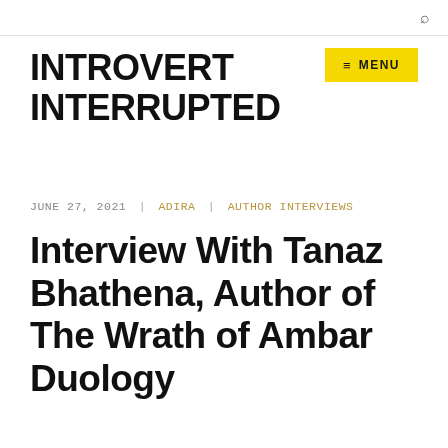INTROVERT INTERRUPTED
MENU
JUNE 27, 2021 | ADIRA | AUTHOR INTERVIEWS
Interview With Tanaz Bhathena, Author of The Wrath of Ambar Duology